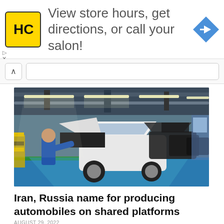[Figure (screenshot): Advertisement banner for a salon finder app with HC logo, text reading 'View store hours, get directions, or call your salon!' and a blue navigation arrow icon]
[Figure (photo): Automobile factory assembly line with a worker in blue uniform checking under the hood of a white car. Multiple vehicles lined up in a large industrial facility with overhead fluorescent lighting, yellow safety barriers, and blue floor.]
Iran, Russia name for producing automobiles on shared platforms
AUGUST 29, 2022